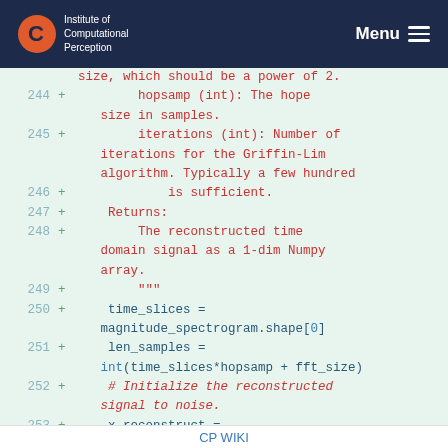Institute of Computational Perception | Menu
[Figure (screenshot): Code diff showing Python function lines 244-253 with added lines marked with + signs, showing docstring parameters and code for audio reconstruction]
CP WIKI